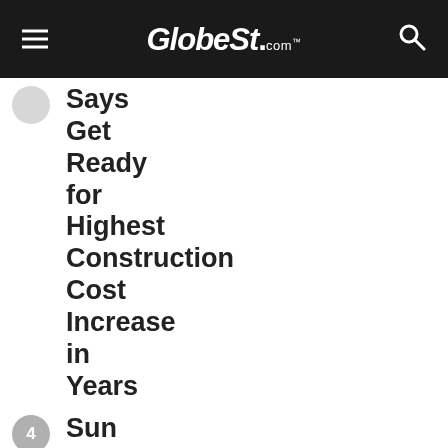GlobeSt.com
Says Get Ready for Highest Construction Cost Increase in Years
Sun Belt Multifamily Just Lost a Key Revenue Competition to